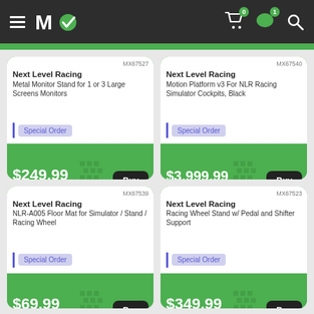[Figure (screenshot): E-commerce website header with dark background, hamburger menu, MC logo with green checkmark, shopping cart icon with badge 0, message icon with badge 1, and search icon]
[Figure (screenshot): Product card: Next Level Racing Metal Monitor Stand for 1 or 3 Large Screens Monitors, SKU MX67527, Special Order, $249.99 Everyday Low Price!, Buy button]
[Figure (screenshot): Product card: Next Level Racing Motion Platform v3 For NLR Racing Simulator Cockpits, Black, SKU MX67540, Special Order, $3,999.99 Everyday Low Price!, Buy button]
[Figure (screenshot): Product card: Next Level Racing NLR-A005 Floor Mat for Simulator / Stand / Racing Wheel, SKU MX67539, Special Order, $69.99 Everyday Low Price!, Buy button]
[Figure (screenshot): Product card: Next Level Racing Racing Wheel Stand w/ Pedal and Shifter Support, SKU MX67523, Special Order, $349.99 Everyday Low Price!, Buy button]